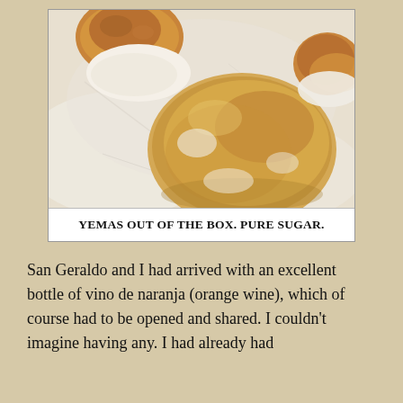[Figure (photo): Close-up photograph of yemas (Spanish egg yolk sweets) out of their box, showing soft round golden-brown sugary confections with a translucent amber coating on a white surface.]
YEMAS OUT OF THE BOX. PURE SUGAR.
San Geraldo and I had arrived with an excellent bottle of vino de naranja (orange wine), which of course had to be opened and shared. I couldn't imagine having any. I had already had